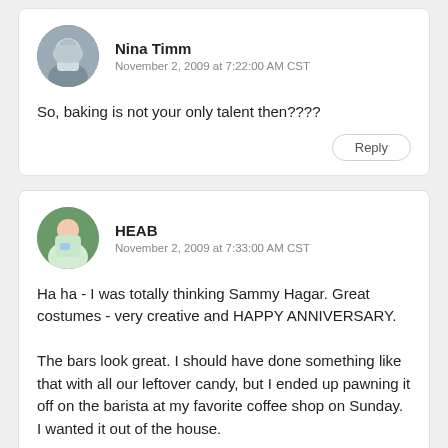Nina Timm
November 2, 2009 at 7:22:00 AM CST
So, baking is not your only talent then????
Reply
HEAB
November 2, 2009 at 7:33:00 AM CST
Ha ha - I was totally thinking Sammy Hagar. Great costumes - very creative and HAPPY ANNIVERSARY.

The bars look great. I should have done something like that with all our leftover candy, but I ended up pawning it off on the barista at my favorite coffee shop on Sunday. I wanted it out of the house.